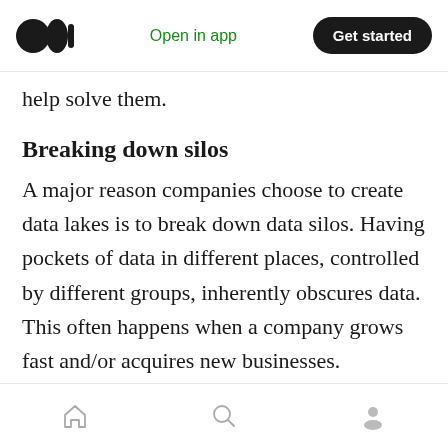Open in app   Get started
help solve them.
Breaking down silos
A major reason companies choose to create data lakes is to break down data silos. Having pockets of data in different places, controlled by different groups, inherently obscures data. This often happens when a company grows fast and/or acquires new businesses.
It’s also difficult to get granular details from the data, because not everybody has access to the various data repositories. For smaller queries